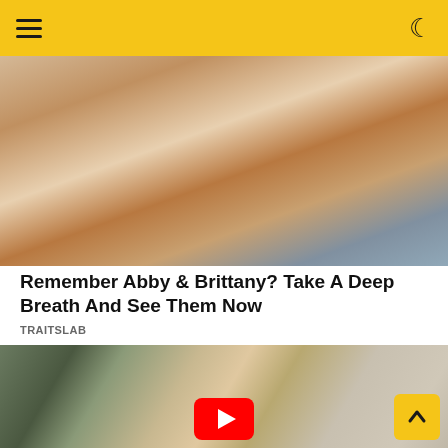Navigation bar with hamburger menu and dark mode toggle
[Figure (photo): Group photo of four people (two men and two women) smiling at a restaurant table. One woman wears a pink floral top.]
Remember Abby & Brittany? Take A Deep Breath And See Them Now
TRAITSLAB
[Figure (photo): Split photo showing a red-haired bearded man in a suit on the left and a dark-haired woman smiling on the right, with a YouTube play button overlay in the center bottom.]